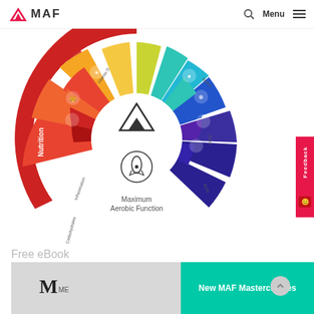MAF — Menu
[Figure (infographic): MAF wheel diagram showing health categories: Nutrition, Vitamin D/Sun, Stress, Brain, Body, Carbohydrates, Inflammation — arranged as colored arc segments around a central MAF logo with Maximum Aerobic Function label and rocket icon]
Free eBook
[Figure (photo): Book cover image partially visible showing MAF branding, with green New MAF Masterclasses banner overlay]